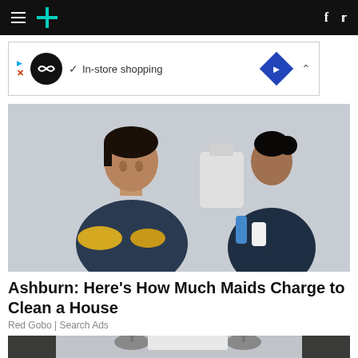HuffPost navigation bar with hamburger menu, logo, Facebook and Twitter icons
[Figure (screenshot): Advertisement banner with circular black logo, checkmark, In-store shopping text, blue diamond navigation icon]
[Figure (photo): Two women in dark scrubs cleaning, one smiling with yellow rubber gloves in foreground]
Ashburn: Here's How Much Maids Charge to Clean a House
Red Gobo | Search Ads
[Figure (photo): Kitchen interior with pendant lights and a person cleaning]